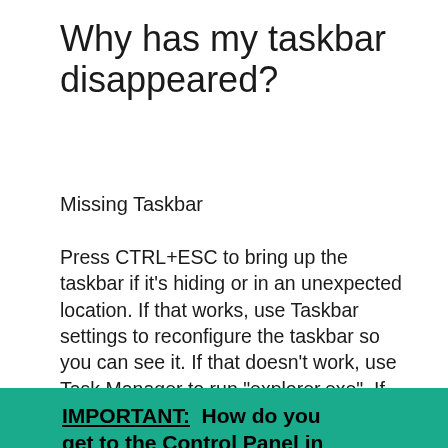Why has my taskbar disappeared?
Missing Taskbar
Press CTRL+ESC to bring up the taskbar if it’s hiding or in an unexpected location. If that works, use Taskbar settings to reconfigure the taskbar so you can see it. If that doesn’t work, use Task Manager to run “explorer.exe”. If that doesn’t work, check for malware and possibly corrupted system files.
IMPORTANT:  How do you get to the Control Panel in Windows 10?